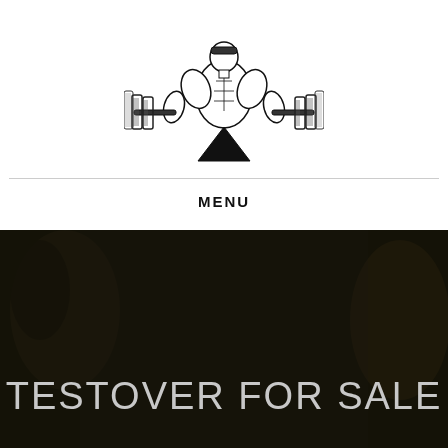[Figure (logo): Black and white illustration of a muscular bodybuilder holding barbells, centered at the top of the page]
MENU
[Figure (photo): Dark background photo of a person in a gym setting, partially visible, sepia/dark tones]
TESTOVER FOR SALE